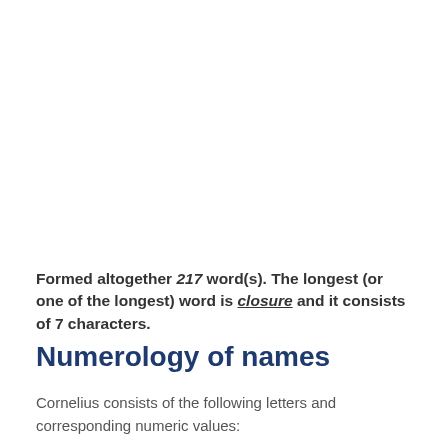Formed altogether 217 word(s). The longest (or one of the longest) word is closure and it consists of 7 characters.
Numerology of names
Cornelius consists of the following letters and corresponding numeric values: